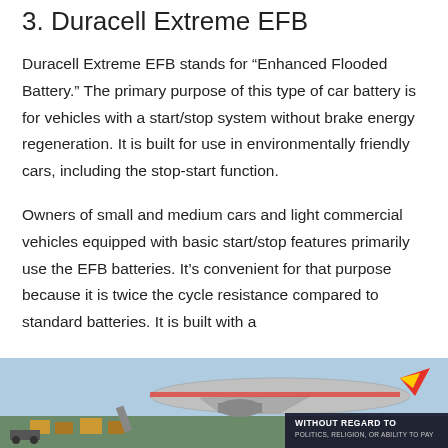3. Duracell Extreme EFB
Duracell Extreme EFB stands for “Enhanced Flooded Battery.” The primary purpose of this type of car battery is for vehicles with a start/stop system without brake energy regeneration. It is built for use in environmentally friendly cars, including the stop-start function.
Owners of small and medium cars and light commercial vehicles equipped with basic start/stop features primarily use the EFB batteries. It’s convenient for that purpose because it is twice the cycle resistance compared to standard batteries. It is built with a
[Figure (photo): Advertisement banner image showing an airplane being loaded with cargo, partially overlaid with a dark banner reading 'WITHOUT REGARD TO POLITICS, RELIGION, OR ABILITY TO PAY']